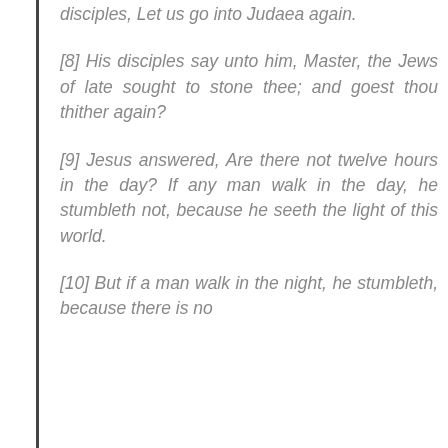disciples, Let us go into Judaea again.
[8] His disciples say unto him, Master, the Jews of late sought to stone thee; and goest thou thither again?
[9] Jesus answered, Are there not twelve hours in the day? If any man walk in the day, he stumbleth not, because he seeth the light of this world.
[10] But if a man walk in the night, he stumbleth, because there is no